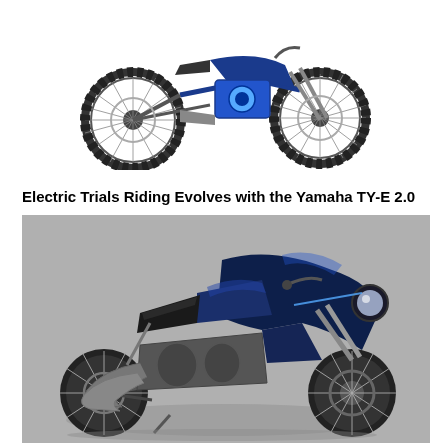[Figure (photo): Electric trials motorcycle (Yamaha TY-E) viewed from the side, showing large spoked wheels with knobby tires, blue frame accents, and exposed electric motor components. White background.]
Electric Trials Riding Evolves with the Yamaha TY-E 2.0
[Figure (photo): Dark blue sport touring / cafe racer style motorcycle photographed on a grey studio background. The bike features a large blue fairing, round headlight, exposed engine with chrome/silver exhaust pipes, spoked wheels, and a low seat.]